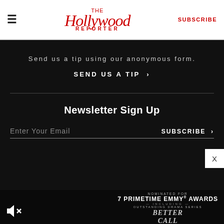The Hollywood Reporter SUBSCRIBE
Send us a tip using our anonymous form.
SEND US A TIP >
Newsletter Sign Up
Enter Your Email  SUBSCRIBE >
[Figure (screenshot): Better Call Saul advertisement: Nominated for 7 Primetime Emmy Awards including Outstanding Drama Series, with Better Call Saul logo and AMC badge. Mute icon in bottom left.]